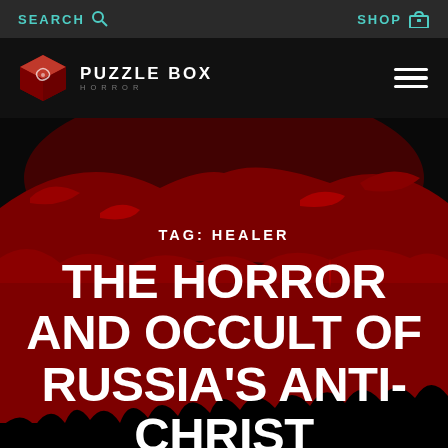SEARCH  SHOP
[Figure (logo): Puzzle Box Horror logo with red cube icon and text 'PUZZLE BOX HORROR']
TAG: HEALER
THE HORROR AND OCCULT OF RUSSIA'S ANTI-CHRIST RASPUTIN